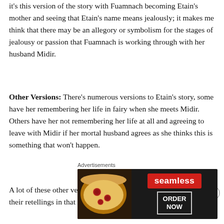it's this version of the story with Fuamnach becoming Etain's mother and seeing that Etain's name means jealously; it makes me think that there may be an allegory or symbolism for the stages of jealousy or passion that Fuamnach is working through with her husband Midir.
Other Versions: There's numerous versions to Etain's story, some have her remembering her life in fairy when she meets Midir. Others have her not remembering her life at all and agreeing to leave with Midir if her mortal husband agrees as she thinks this is something that won't happen.
A lot of these other versions for Etain's story often simplify their retellings in that they often leave out how Midir and
Advertisements
[Figure (screenshot): Seamless food delivery advertisement banner showing pizza slices on the left, the Seamless logo in red, and an 'ORDER NOW' button on a dark background.]